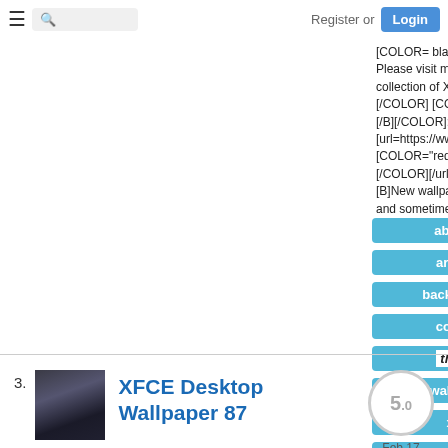Register or Login
[COLOR= black ][B]like these: Please visit my forever growing collection of XFCE wallpapers [/B] [/COLOR] [COLOR="#873260"] [B] [/B][/COLOR]: [url=https://www.pling.com/c/1338454/] [COLOR="red"] [B]Here[/B] [/COLOR][/url] [COLOR="black"] [B]New wallpapers added weekly and sometimes daily...
abstract
artwork
background
colorful
theme
wallpaper
xfce
xubuntu
3. XFCE Desktop Wallpaper 87
5.0
Feb 17 2021